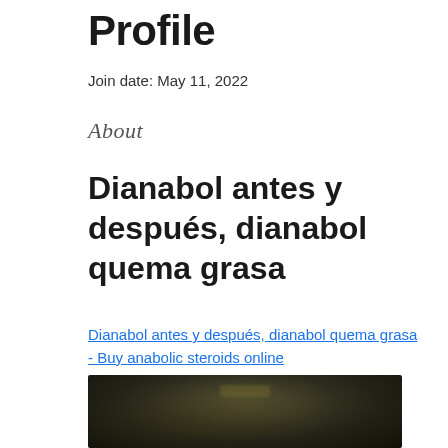Profile
Join date: May 11, 2022
About
Dianabol antes y después, dianabol quema grasa
Dianabol antes y después, dianabol quema grasa - Buy anabolic steroids online
[Figure (photo): Dark blurred image, appears to show a product or figure against a very dark background with slight golden highlight in center]